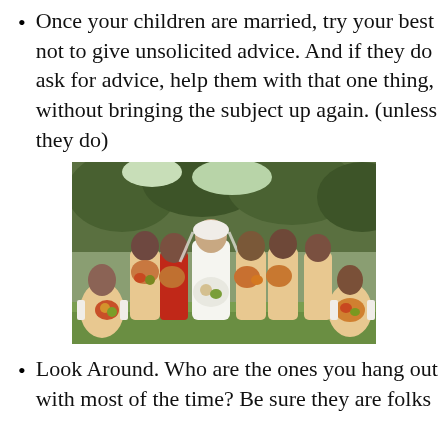Once your children are married, try your best not to give unsolicited advice. And if they do ask for advice, help them with that one thing, without bringing the subject up again. (unless they do)
[Figure (photo): A wedding photo showing a bride in white dress and veil surrounded by bridesmaids in light yellow/cream dresses and one in red, holding bouquets of flowers, posed outdoors with trees in background.]
Look Around. Who are the ones you hang out with most of the time? Be sure they are folks